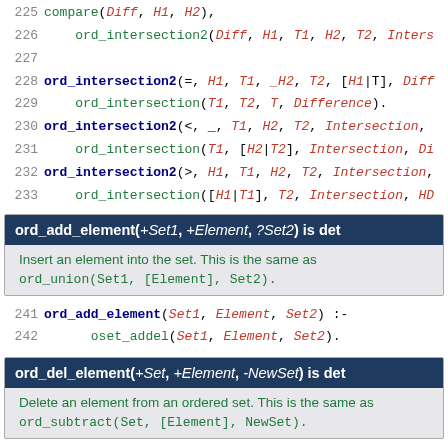225   compare(Diff, H1, H2),
226       ord_intersection2(Diff, H1, T1, H2, T2, Inters
227
228 ord_intersection2(=, H1, T1, _H2, T2, [H1|T], Diff
229       ord_intersection(T1, T2, T, Difference).
230 ord_intersection2(<, _, T1, H2, T2, Intersection,
231       ord_intersection(T1, [H2|T2], Intersection, Di
232 ord_intersection2(>, H1, T1, H2, T2, Intersection,
233       ord_intersection([H1|T1], T2, Intersection, HD
ord_add_element(+Set1, +Element, ?Set2) is det
Insert an element into the set. This is the same as ord_union(Set1, [Element], Set2).
241 ord_add_element(Set1, Element, Set2) :-
242       oset_addel(Set1, Element, Set2).
ord_del_element(+Set, +Element, -NewSet) is det
Delete an element from an ordered set. This is the same as ord_subtract(Set, [Element], NewSet).
250 ord_del_element(Set, [Element], NewSet) :-